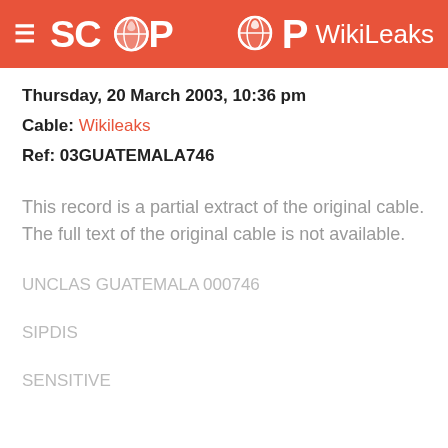SCOOP WikiLeaks
Thursday, 20 March 2003, 10:36 pm
Cable: Wikileaks
Ref: 03GUATEMALA746
This record is a partial extract of the original cable. The full text of the original cable is not available.
UNCLAS GUATEMALA 000746
SIPDIS
SENSITIVE